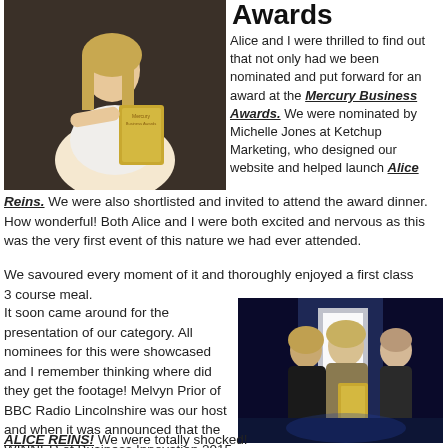Awards
[Figure (photo): Woman in white holding an award plaque at the Mercury Business Awards]
Alice and I were thrilled to find out that not only had we been nominated and put forward for an award at the Mercury Business Awards. We were nominated by Michelle Jones at Ketchup Marketing, who designed our website and helped launch Alice Reins. We were also shortlisted and invited to attend the award dinner.
How wonderful! Both Alice and I were both excited and nervous as this was the very first event of this nature we had ever attended.
We savoured every moment of it and thoroughly enjoyed a first class 3 course meal.
It soon came around for the presentation of our category. All nominees for this were showcased and I remember thinking where did they get the footage! Melvyn Prior of BBC Radio Lincolnshire was our host and when it was announced that the WINNER of Business Innovation 2015 was....ALICE REINS! We were totally shocked!
[Figure (photo): Two women on stage receiving an award, with a presenter, in dark venue with blue/white lighting]